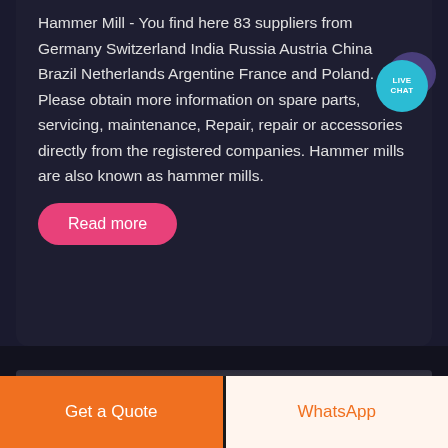Hammer Mill - You find here 83 suppliers from Germany Switzerland India Russia Austria China Brazil Netherlands Argentine France and Poland. Please obtain more information on spare parts, servicing, maintenance, Repair, repair or accessories directly from the registered companies. Hammer mills are also known as hammer mills.
[Figure (other): Live Chat bubble icon — teal circular badge with 'LIVE CHAT' text, with a purple shadow bubble behind it]
Read more
[Figure (photo): Partial photo strip at the bottom of the dark card area, showing a dim industrial/outdoor scene]
Get a Quote
WhatsApp